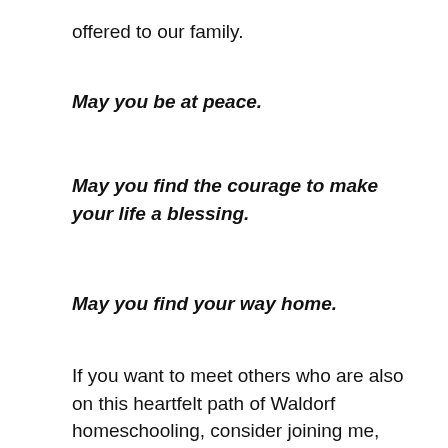offered to our family.
May you be at peace.
May you find the courage to make your life a blessing.
May you find your way home.
If you want to meet others who are also on this heartfelt path of Waldorf homeschooling, consider joining me, other experienced